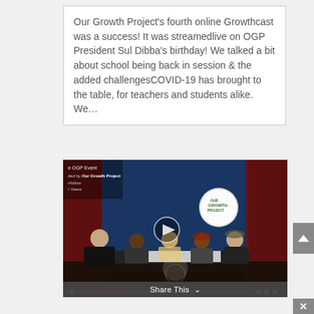Our Growth Project's fourth online Growthcast was a success! It was streamedlive on OGP President Sul Dibba's birthday! We talked a bit about school being back in session & the added challengesCOVID-19 has brought to the table, for teachers and students alike. We...
[Figure (photo): Video thumbnail/screenshot of an OGP Event panel discussion with 5 people seated at a table on a stage. A 'Our Growth Project' logo is visible on a circular sign in the background. An overlay shows event metadata: 'OGP Event', 'hosted by Our Growth Project', 'Follow', 'Views'. A play button is centered. A tree logo appears on the front of the table.]